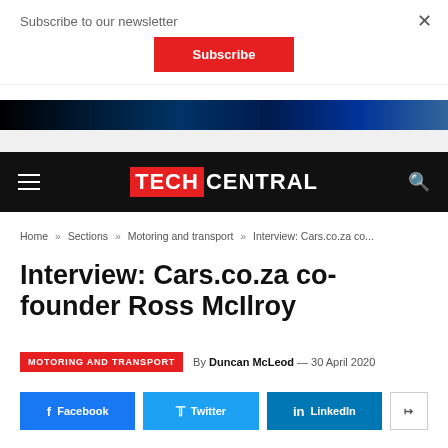Subscribe to our newsletter
Subscribe
TECHCENTRAL
Home » Sections » Motoring and transport » Interview: Cars.co.za co...
Interview: Cars.co.za co-founder Ross McIlroy
MOTORING AND TRANSPORT  By Duncan McLeod — 30 April 2020
Facebook  Twitter  LinkedIn